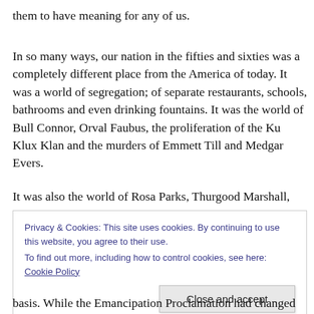them to have meaning for any of us.
In so many ways, our nation in the fifties and sixties was a completely different place from the America of today. It was a world of segregation; of separate restaurants, schools, bathrooms and even drinking fountains. It was the world of Bull Connor, Orval Faubus, the proliferation of the Ku Klux Klan and the murders of Emmett Till and Medgar Evers.
It was also the world of Rosa Parks, Thurgood Marshall,
Privacy & Cookies: This site uses cookies. By continuing to use this website, you agree to their use.
To find out more, including how to control cookies, see here: Cookie Policy
Close and accept
basis. While the Emancipation Proclamation had changed